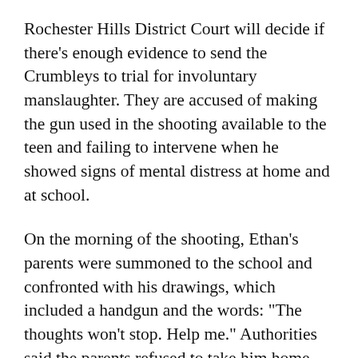Rochester Hills District Court will decide if there's enough evidence to send the Crumbleys to trial for involuntary manslaughter. They are accused of making the gun used in the shooting available to the teen and failing to intervene when he showed signs of mental distress at home and at school.
On the morning of the shooting, Ethan's parents were summoned to the school and confronted with his drawings, which included a handgun and the words: "The thoughts won't stop. Help me." Authorities said the parents refused to take him home after the 13-minute meeting.
Hopkins testified that he provided Ethan's parents with a list of mental health support resources at that meeting and that as it was ending Jennifer Crumbley